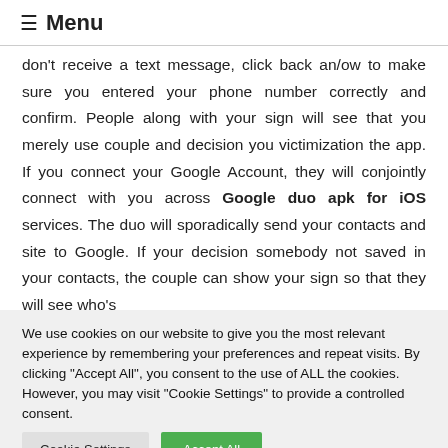≡ Menu
don't receive a text message, click back an/ow to make sure you entered your phone number correctly and confirm. People along with your sign will see that you merely use couple and decision you victimization the app. If you connect your Google Account, they will conjointly connect with you across Google duo apk for iOS services. The duo will sporadically send your contacts and site to Google. If your decision somebody not saved in your contacts, the couple can show your sign so that they will see who's
We use cookies on our website to give you the most relevant experience by remembering your preferences and repeat visits. By clicking "Accept All", you consent to the use of ALL the cookies. However, you may visit "Cookie Settings" to provide a controlled consent.